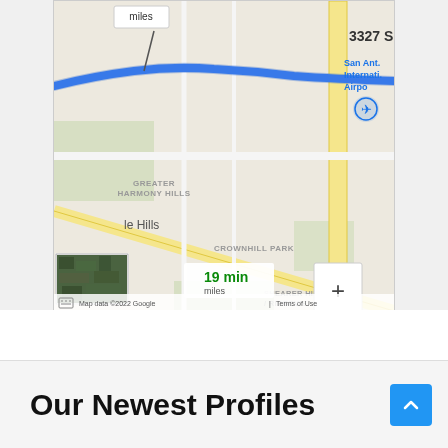[Figure (screenshot): Google Maps screenshot showing a route in San Antonio area near San Antonio International Airport, with a blue route line, neighborhood labels (Greater Harmony Hills, Crownhill Park, Shearer Hills/Ridgeview), a green destination pin near Rollercade, zoom controls (+/-), a satellite map thumbnail, Google logo, and map data attribution. Shows '19 min miles' travel info panel.]
Our Newest Profiles